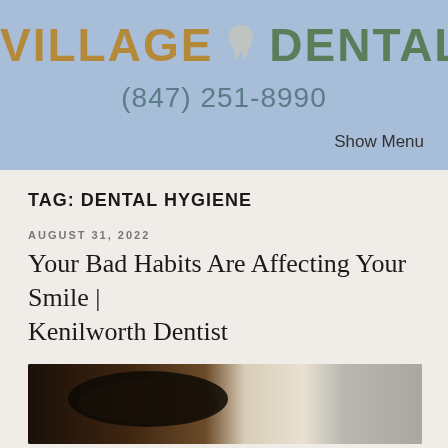[Figure (logo): Village Dental logo with tooth icon between VILLAGE and DENTAL text]
(847) 251-8990
Show Menu
TAG: DENTAL HYGIENE
AUGUST 31, 2022
Your Bad Habits Are Affecting Your Smile | Kenilworth Dentist
[Figure (photo): Photo showing a cup of coffee from above on a white surface with a wooden background]